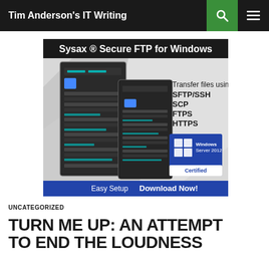Tim Anderson's IT Writing
[Figure (screenshot): Sysax Secure FTP for Windows advertisement showing server racks with text: Transfer files using SFTP/SSH, SCP, FTPS, HTTPS. Windows Server 2012 Certified badge. Easy Setup Download Now! banner.]
UNCATEGORIZED
TURN ME UP: AN ATTEMPT TO END THE LOUDNESS